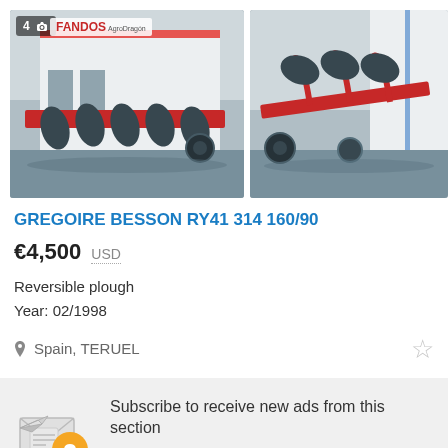[Figure (photo): Two photographs of a red reversible plough (GREGOIRE BESSON RY41) parked outside a building with FANDOS AgroDragón signage. Left photo shows side view with badge showing 4 and camera icon. Right photo shows another angle.]
GREGOIRE BESSON RY41 314 160/90
€4,500  USD
Reversible plough
Year: 02/1998
Spain, TERUEL
Subscribe to receive new ads from this section
GREGOIRE BESSON    Europe